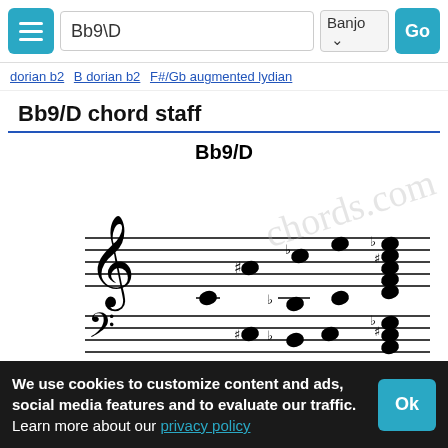Bb9\D | Banjo | Go
dorian b2 B dorian b2 F#/Gb augmented lydian
Bb9/D chord staff
[Figure (illustration): Musical staff notation showing Bb9/D chord on treble and bass clef with individual notes and full chord voicing. Watermark text visible.]
We use cookies to customize content and ads, social media features and to evaluate our traffic.
Learn more about our privacy policy